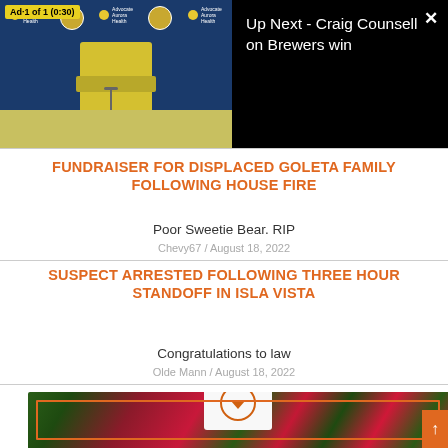[Figure (screenshot): Video player showing a man in a yellow Brewers shirt at a press conference podium with Milwaukee Brewers branded blue backdrop. Ad overlay badge reads 'Ad·1 of 1 (0:30)'.]
Up Next - Craig Counsell on Brewers win
FUNDRAISER FOR DISPLACED GOLETA FAMILY FOLLOWING HOUSE FIRE
Poor Sweetie Bear. RIP
Chevy67 / August 18, 2022
SUSPECT ARRESTED FOLLOWING THREE HOUR STANDOFF IN ISLA VISTA
Congratulations to law
Olde Mann / August 18, 2022
[Figure (photo): Photo of pink/red flowers (bougainvillea) with a white card and orange circular icon visible, framed with an orange border overlay.]